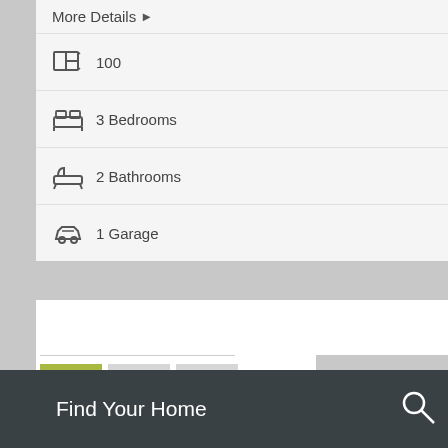More Details ▶
100
3 Bedrooms
2 Bathrooms
1 Garage
1  2  3
Find Your Home